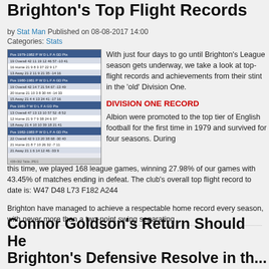Brighton's Top Flight Records
by Stat Man Published on 08-08-2017 14:00
Categories: Stats
[Figure (table-as-image): Table showing Brighton's Division One records across seasons 1979-1983, with columns for Pos, P, W, D, L, F, A, GD, Pts for Overall, Home, and Away rows per season.]
With just four days to go until Brighton's League season gets underway, we take a look at top-flight records and achievements from their stint in the ‘old’ Division One.
DIVISION ONE RECORD
Albion were promoted to the top tier of English football for the first time in 1979 and survived for four seasons. During this time, we played 168 league games, winning 27.98% of our games with 43.45% of matches ending in defeat. The club’s overall top flight record to date is: W47 D48 L73 F182 A244
Brighton have managed to achieve a respectable home record every season, with never more than a two-point swing separating ...
Connor Goldson's Return Should He Brighton's Defensive Resolve in the...